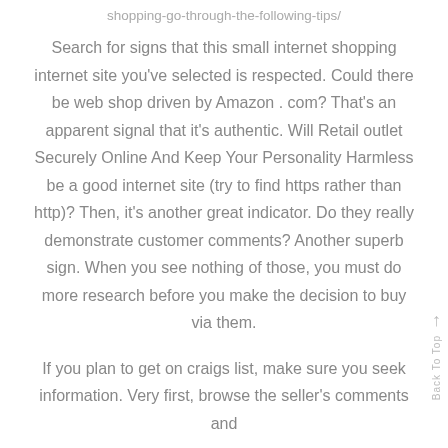shopping-go-through-the-following-tips/
Search for signs that this small internet shopping internet site you’ve selected is respected. Could there be web shop driven by Amazon . com? That’s an apparent signal that it’s authentic. Will Retail outlet Securely Online And Keep Your Personality Harmless be a good internet site (try to find https rather than http)? Then, it’s another great indicator. Do they really demonstrate customer comments? Another superb sign. When you see nothing of those, you must do more research before you make the decision to buy via them.
If you plan to get on craigs list, make sure you seek information. Very first, browse the seller’s comments and